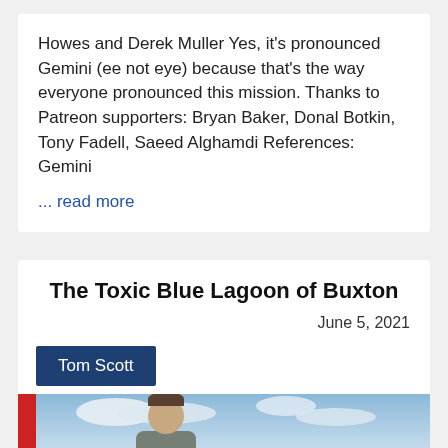Howes and Derek Muller Yes, it's pronounced Gemini (ee not eye) because that's the way everyone pronounced this mission. Thanks to Patreon supporters: Bryan Baker, Donal Botkin, Tony Fadell, Saeed Alghamdi References: Gemini
... read more
The Toxic Blue Lagoon of Buxton
June 5, 2021
Tom Scott
[Figure (photo): A person standing in front of an open quarry landscape with striped rock layers and a cloudy sky]